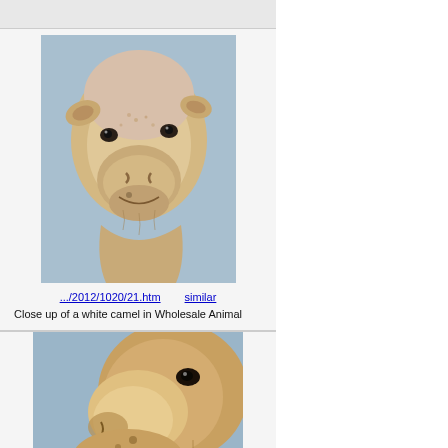[Figure (photo): Close up photo of a white camel face against a blue-grey background]
.../2012/1020/21.htm    similar
Close up of a white camel in Wholesale Animal Market, Dubai, Qatar, February 24, 2010
[Figure (photo): Close up photo of a camel face from the side, against a blue background]